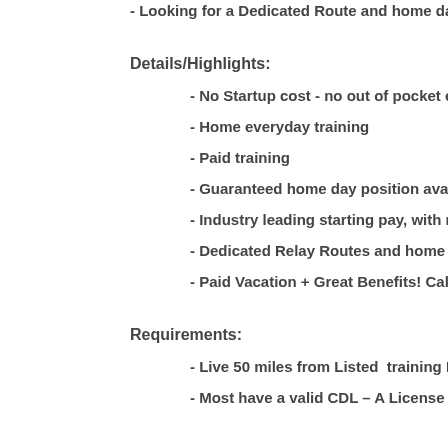- Looking for a Dedicated Route and home daily, N
Details/Highlights:
- No Startup cost - no out of pocket exper
- Home everyday training
- Paid training
- Guaranteed home day position availabl
- Industry leading starting pay, with rais
- Dedicated Relay Routes and home daily
- Paid Vacation + Great Benefits! Call for
Requirements:
- Live 50 miles from Listed  training Loca
- Most have a valid CDL – A License and